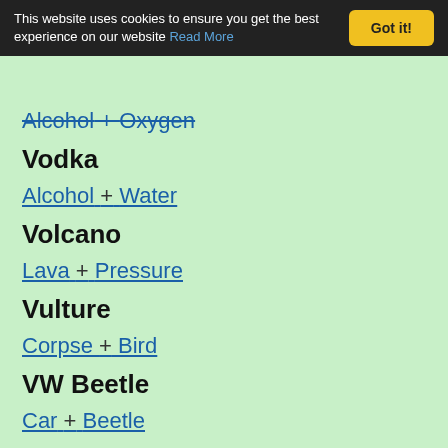This website uses cookies to ensure you get the best experience on our website Read More  Got it!
Alcohol + Oxygen
Vodka
Alcohol + Water
Volcano
Lava + Pressure
Vulture
Corpse + Bird
VW Beetle
Car + Beetle
Warrior
Arms + Hunter
Weevil